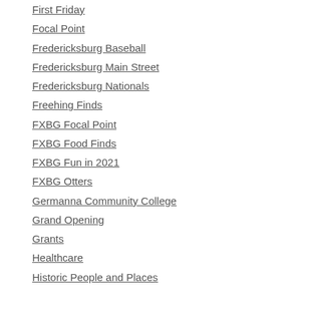First Friday
Focal Point
Fredericksburg Baseball
Fredericksburg Main Street
Fredericksburg Nationals
Freehing Finds
FXBG Focal Point
FXBG Food Finds
FXBG Fun in 2021
FXBG Otters
Germanna Community College
Grand Opening
Grants
Healthcare
Historic People and Places